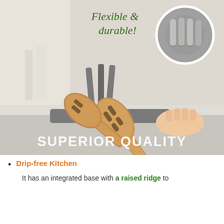[Figure (photo): Product photo of a gray silicone spoon rest/utensil holder on a kitchen counter. A wooden slotted spatula is being placed in the holder by a hand. Overlay text reads 'Flexible & durable!' in cursive green and 'SUPERIOR QUALITY' in large white bold text at the bottom. A circular inset in the top-right corner shows a close-up of the flexible silicone slots.]
Drip-free Kitchen
It has an integrated base with a raised ridge to